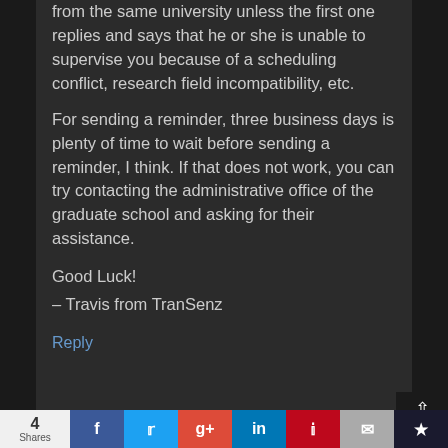from the same university unless the first one replies and says that he or she is unable to supervise you because of a scheduling conflict, research field incompatibility, etc.
For sending a reminder, three business days is plenty of time to wait before sending a reminder, I think. If that does not work, you can try contacting the administrative office of the graduate school and asking for their assistance.
Good Luck!
– Travis from TranSenz
Reply
4 Shares | Facebook | Twitter | Google+ | LinkedIn | Pinterest | Email | Save